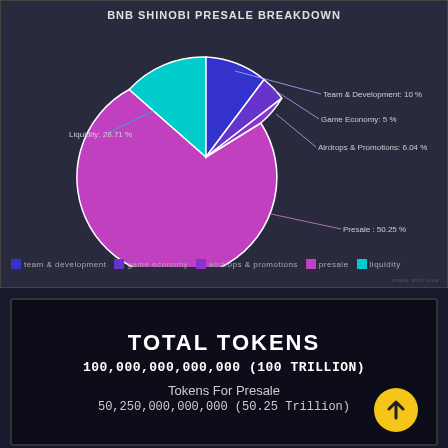BNB SHINOBI PRESALE BREAKDOWN
[Figure (pie-chart): BNB SHINOBI PRESALE BREAKDOWN]
TOTAL TOKENS
100,000,000,000,000 (100 TRILLION)
Tokens For Presale
50,250,000,000,000 (50.25 Trillion)